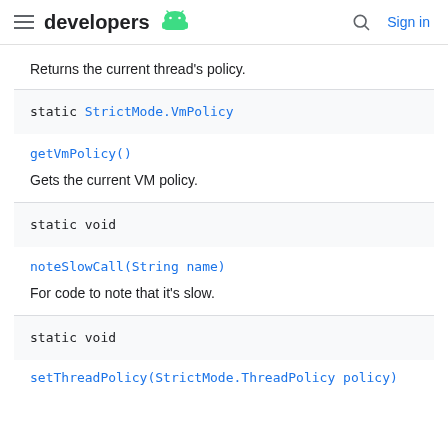developers [android logo] | [search] Sign in
Returns the current thread's policy.
static StrictMode.VmPolicy
getVmPolicy()
Gets the current VM policy.
static void
noteSlowCall(String name)
For code to note that it's slow.
static void
setThreadPolicy(StrictMode.ThreadPolicy policy)